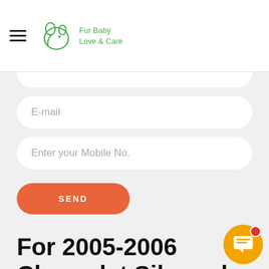[Figure (logo): Fur Baby Love & Care logo with animal outline and green text]
E-mail
Enter your Mobile No.
SEND
For 2005-2006 Chevrolet Silverado 3500 Door Lock Actuator Motor